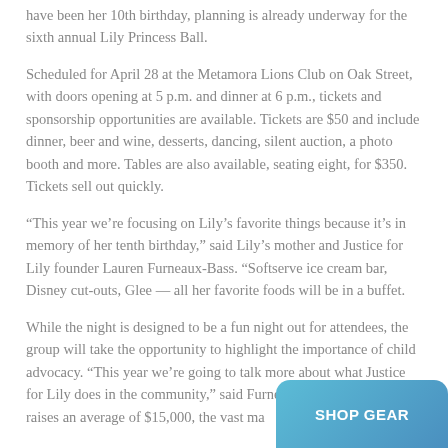have been her 10th birthday, planning is already underway for the sixth annual Lily Princess Ball.
Scheduled for April 28 at the Metamora Lions Club on Oak Street, with doors opening at 5 p.m. and dinner at 6 p.m., tickets and sponsorship opportunities are available. Tickets are $50 and include dinner, beer and wine, desserts, dancing, silent auction, a photo booth and more. Tables are also available, seating eight, for $350. Tickets sell out quickly.
“This year we’re focusing on Lily’s favorite things because it’s in memory of her tenth birthday,” said Lily’s mother and Justice for Lily founder Lauren Furneaux-Bass. “Softserve ice cream bar, Disney cut-outs, Glee — all her favorite foods will be in a buffet.
While the night is designed to be a fun night out for attendees, the group will take the opportunity to highlight the importance of child advocacy. “This year we’re going to talk more about what Justice for Lily does in the community,” said Furneaux-Bass. The ann raises an average of $15,000, the vast ma
[Figure (other): Teal/blue rounded button with white text reading SHOP GEAR]